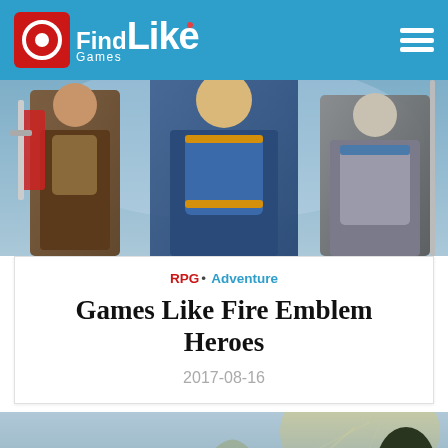FindGamesLike
[Figure (illustration): Fantasy RPG characters in armor, Fire Emblem Heroes banner art]
RPG · Adventure
Games Like Fire Emblem Heroes
2017-08-16
[Figure (illustration): Fantasy landscape with dragon or creature, moody sky and ruins]